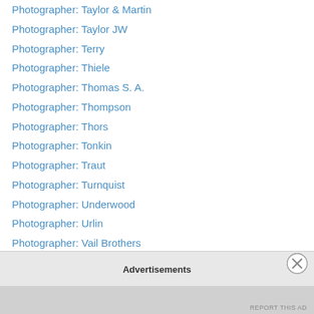Photographer: Taylor & Martin
Photographer: Taylor JW
Photographer: Terry
Photographer: Thiele
Photographer: Thomas S. A.
Photographer: Thompson
Photographer: Thors
Photographer: Tonkin
Photographer: Traut
Photographer: Turnquist
Photographer: Underwood
Photographer: Urlin
Photographer: Vail Brothers
Photographer: Van Der Weyde
Photographer: Vestine
Photographer: Vetter
Photographer: Vreeland
Advertisements
REPORT THIS AD